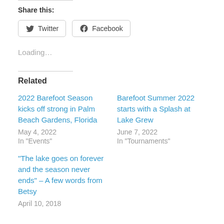Share this:
Twitter   Facebook
Loading...
Related
2022 Barefoot Season kicks off strong in Palm Beach Gardens, Florida
May 4, 2022
In "Events"
Barefoot Summer 2022 starts with a Splash at Lake Grew
June 7, 2022
In "Tournaments"
“The lake goes on forever and the season never ends” – A few words from Betsy
April 10, 2018